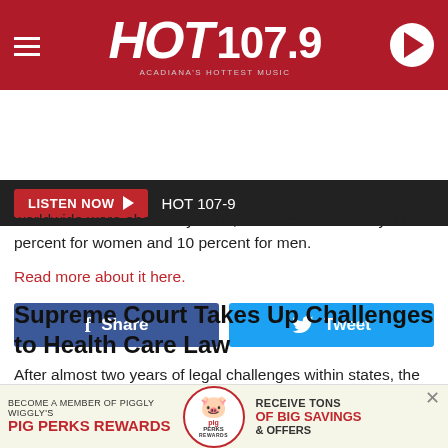[Figure (logo): HOT 107.9 radio station logo with tagline ACADIANA'S HOTTEST MUSIC on dark red background, with hamburger menu icon and play button]
LISTEN NOW  HOT 107-9
[Figure (infographic): Facebook Share button (blue) and Twitter Tweet button (blue)]
worldwide were obese. By 2008, the rates were nearly 14 percent for women and 10 percent for men.
Read more about it here.
Supreme Court Takes Up Challenges to Health Care Law
After almost two years of legal challenges within states, the Supreme Court announced it would hear arguments on the constitutionality of the health care reform law signed by
[Figure (infographic): Piggly Wiggly Pig Perks Rewards advertisement banner: BECOME A MEMBER OF PIGGLY WIGGLY'S PIG PERKS REWARDS | pig logo | RECEIVE TONS OF BIG SAVINGS & OFFERS]